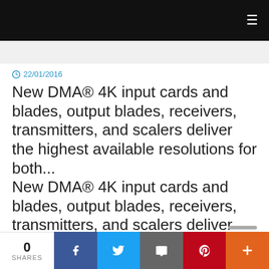≡
22/01/2016
New DMA® 4K input cards and blades, output blades, receivers, transmitters, and scalers deliver the highest available resolutions for both...
New DMA® 4K input cards and blades, output blades, receivers, transmitters, and scalers deliver the highest available resolutions for both professional and residential applications
0 SHARES | Facebook | Twitter | Email | Pinterest | +